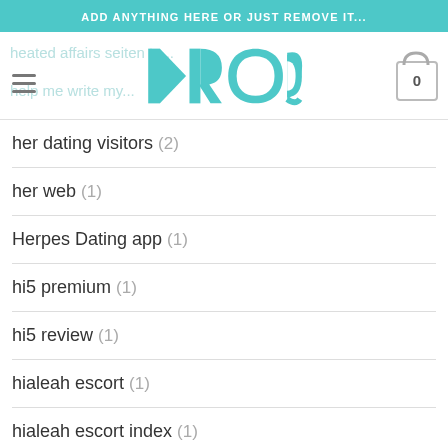ADD ANYTHING HERE OR JUST REMOVE IT...
[Figure (logo): KROQ logo in teal color with hamburger menu icon on left and shopping cart with 0 on right]
her dating visitors (2)
her web (1)
Herpes Dating app (1)
hi5 premium (1)
hi5 review (1)
hialeah escort (1)
hialeah escort index (1)
hialeah escort sites (2)
high point live escort (1)